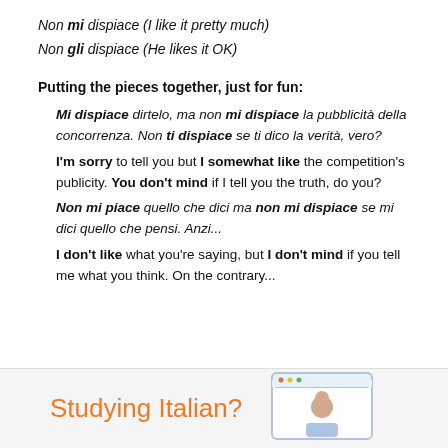Non mi dispiace (I like it pretty much)
Non gli dispiace (He likes it OK)
Putting the pieces together, just for fun:
Mi dispiace dirtelo, ma non mi dispiace la pubblicità della concorrenza. Non ti dispiace se ti dico la verità, vero? I'm sorry to tell you but I somewhat like the competition's publicity. You don't mind if I tell you the truth, do you? Non mi piace quello che dici ma non mi dispiace se mi dici quello che pensi. Anzi... I don't like what you're saying, but I don't mind if you tell me what you think. On the contrary...
[Figure (illustration): Bottom banner with orange text 'Studying Italian?' and a browser/monitor illustration with a person]